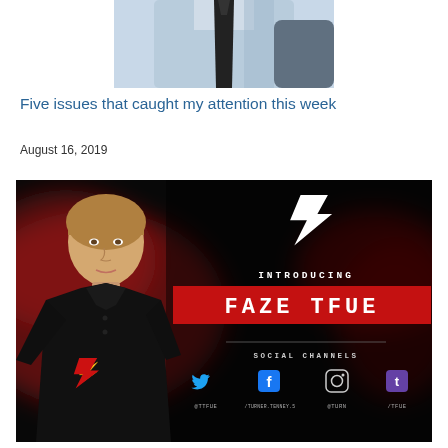[Figure (photo): Partial photo of a person in a light blue shirt with a dark tie, cropped at top of page]
Five issues that caught my attention this week
August 16, 2019
[Figure (photo): FaZe Clan promotional image introducing FaZe Tfue. Dark background with red smoke. Young man wearing FaZe black jersey on left. Right side shows FaZe logo at top, text INTRODUCING, red banner with FAZE TFUE, divider line, SOCIAL CHANNELS label, and four social media icons (Twitter @TTFUE, Facebook /TURNER.TENNEY.5, Instagram @TURN, Twitch /TFUE)]